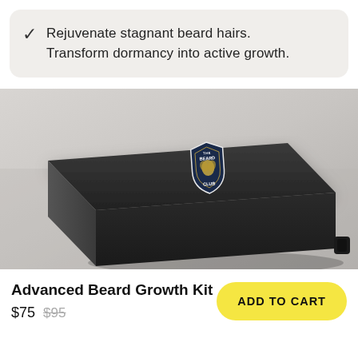Rejuvenate stagnant beard hairs. Transform dormancy into active growth.
[Figure (photo): Black rectangular box with The Beard Club logo badge on it, lying on a light gray surface at an angle]
Advanced Beard Growth Kit
$75  $95